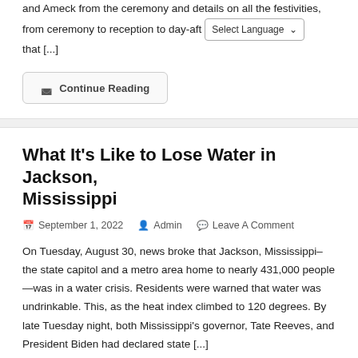and Ameck from the ceremony and details on all the festivities, from ceremony to reception to day-aft[Select Language] that [...]
Continue Reading
What It's Like to Lose Water in Jackson, Mississippi
September 1, 2022   Admin   Leave A Comment
On Tuesday, August 30, news broke that Jackson, Mississippi–the state capitol and a metro area home to nearly 431,000 people—was in a water crisis. Residents were warned that water was undrinkable. This, as the heat index climbed to 120 degrees. By late Tuesday night, both Mississippi's governor, Tate Reeves, and President Biden had declared state [...]